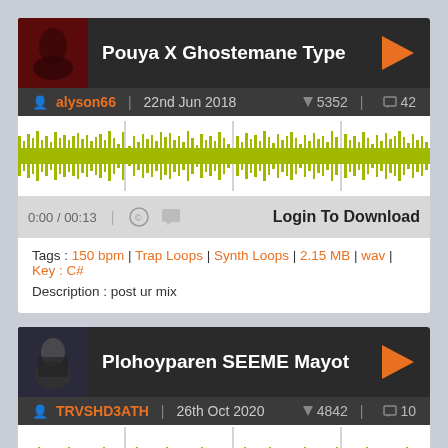Pouya X Ghostemane Type
alyson66 | 22nd Jun 2018 | 5352 downloads | 42 comments
[Figure (other): Audio waveform visualization showing yellow-green waveform on white background with vertical marker lines]
0:00 / 00:13 | Login To Download
Tags : 150 bpm | Trap Loops | Synth Loops | 2.15 MB | wav | Key : C#
Description : post ur mix
Plohoyparen SEEME Mayot
TRVSHD3ATH | 26th Oct 2020 | 4842 downloads | 10 comments
[Figure (other): Audio waveform visualization showing yellow-green thin waveform on white background with vertical marker lines]